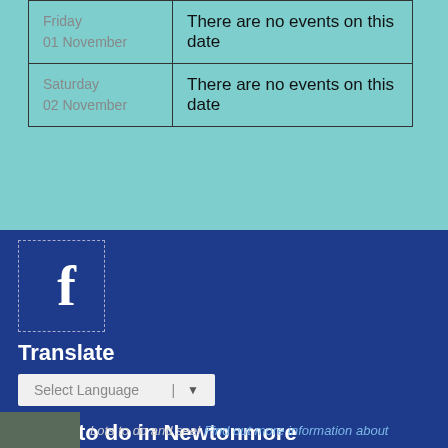| Date | Events |
| --- | --- |
| Friday
01 November | There are no events on this date |
| Saturday
02 November | There are no events on this date |
[Figure (logo): Facebook logo icon (white 'f' on dark blue background) inside a dashed border box]
Translate
Select Language | ▼
What to do in Newtonmore
Lots to do and see! Find out more information about